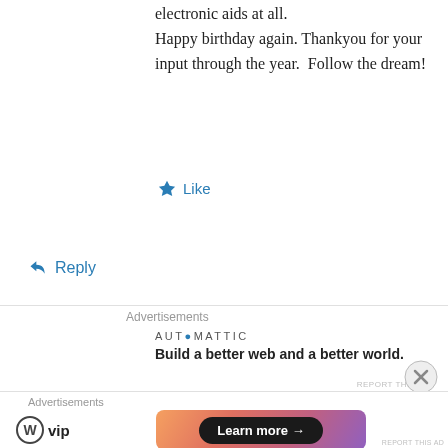electronic aids at all.
Happy birthday again. Thankyou for your input through the year.  Follow the dream!
★ Like
↪ Reply
Advertisements
[Figure (logo): Automattic logo and tagline: Build a better web and a better world.]
REPORT THIS AD
KRS Evenstar on September 17, 2007 at 12:36 am
Haha, oh dear, you've made me sound like a mad and obsessed woman! Thanks very much
Advertisements
[Figure (logo): WordPress VIP logo and Learn more button advertisement]